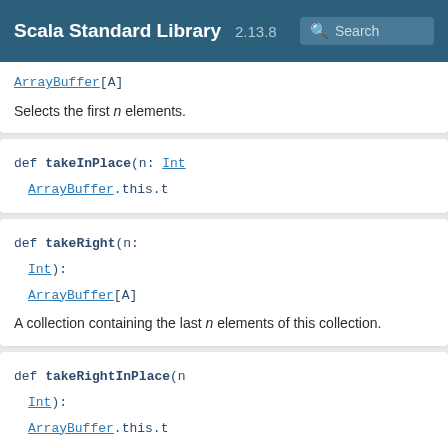Scala Standard Library 2.13.8 Search
ArrayBuffer[A]
Selects the first n elements.
def takeInPlace(n: Int): ArrayBuffer.this.t
def takeRight(n: Int): ArrayBuffer[A]
A collection containing the last n elements of this collection.
def takeRightInPlace(n: Int): ArrayBuffer.this.t
def takeWhile(p: (A) => Boolean): ArrayBuffer[A]
Takes longest prefix of elements that